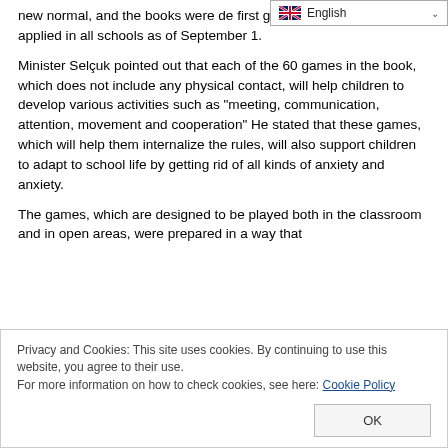new normal, and the books were de… first grade teachers to be applied in all schools as of September 1.
Minister Selçuk pointed out that each of the 60 games in the book, which does not include any physical contact, will help children to develop various activities such as "meeting, communication, attention, movement and cooperation" He stated that these games, which will help them internalize the rules, will also support children to adapt to school life by getting rid of all kinds of anxiety and anxiety.
The games, which are designed to be played both in the classroom and in open areas, were prepared in a way that
Privacy and Cookies: This site uses cookies. By continuing to use this website, you agree to their use.
For more information on how to check cookies, see here: Cookie Policy